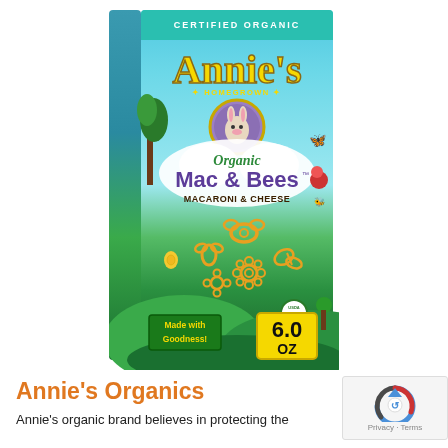[Figure (photo): Annie's Homegrown Organic Mac & Bees Macaroni & Cheese 6.0 oz box. Blue and green box with Annie's logo in yellow, rabbit mascot medallion, 'CERTIFIED ORGANIC' banner in teal at top, 'Organic Mac & Bees' text, bee/butterfly/flower shaped pasta displayed in center, 'Made with Goodness!' green badge, '6.0 OZ' yellow badge, and USDA Organic seal.]
Annie's Organics
Annie's organic brand believes in protecting the